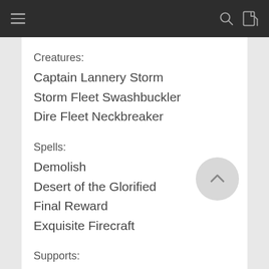Creatures:
Captain Lannery Storm
Storm Fleet Swashbuckler
Dire Fleet Neckbreaker
Spells:
Demolish
Desert of the Glorified
Final Reward
Exquisite Firecraft
Supports:
Prying Blade
Revel in Riches
Trove of Temptation